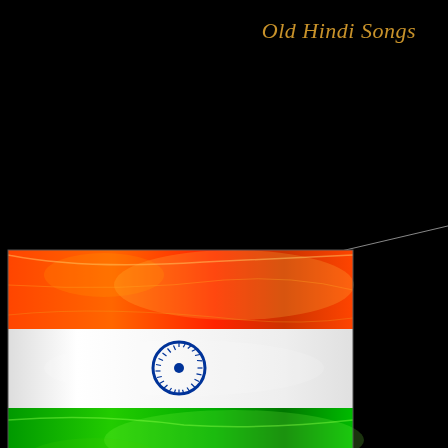Old Hindi Songs
[Figure (illustration): Indian national flag with saffron, white, and green horizontal bands and Ashoka Chakra (navy blue wheel) in the center, rendered with a glowing artistic effect. A thin white diagonal line extends from the upper-center of the flag to the top-right area of the image.]